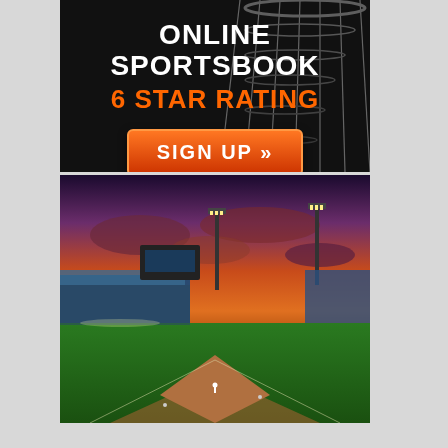[Figure (infographic): Online Sportsbook advertisement banner with basketball net in background. Text reads: ONLINE SPORTSBOOK / 6 STAR RATING / SIGN UP >> button in orange.]
[Figure (photo): Aerial photograph of a baseball stadium at dusk/sunset with dramatic purple-orange sky, field lights on, players on the diamond, and crowded stands.]